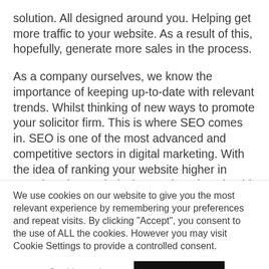solution. All designed around you. Helping get more traffic to your website. As a result of this, hopefully, generate more sales in the process.
As a company ourselves, we know the importance of keeping up-to-date with relevant trends. Whilst thinking of new ways to promote your solicitor firm. This is where SEO comes in. SEO is one of the most advanced and competitive sectors in digital marketing. With the idea of ranking your website higher in Google. It is a technical procedure that should
We use cookies on our website to give you the most relevant experience by remembering your preferences and repeat visits. By clicking "Accept", you consent to the use of ALL the cookies. However you may visit Cookie Settings to provide a controlled consent.